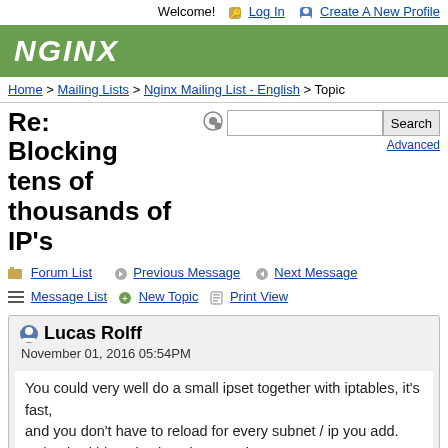Welcome!  Log In  Create A New Profile
[Figure (logo): NGINX logo in white italic text on green background]
Home > Mailing Lists > Nginx Mailing List - English > Topic
Re: Blocking tens of thousands of IP's
Forum List  Previous Message  Next Message  Message List  New Topic  Print View
Lucas Rolff
November 01, 2016 05:54PM
You could very well do a small ipset together with iptables, it's fast,
and you don't have to reload for every subnet / ip you add.
Doing it within nginx is rather.. Yeah.